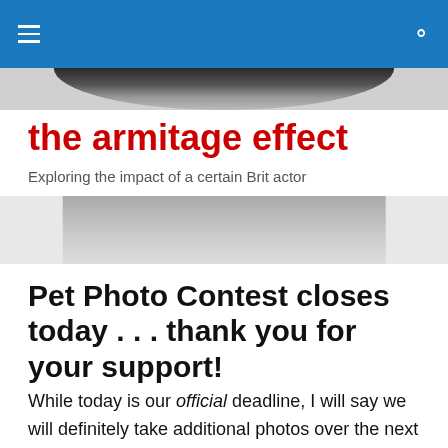the armitage effect — navigation header bar
[Figure (photo): Black and white close-up photo of a person's hair/forehead, top strip]
the armitage effect
Exploring the impact of a certain Brit actor
[Figure (photo): Black and white close-up photo of a person's eyes/forehead, bottom strip]
Pet Photo Contest closes today . . . thank you for your support!
While today is our official deadline, I will say we will definitely take additional photos over the next few days. We want to have plenty for the calendar! I want this to be the most gorgeous one yet! 😀 Still hoping for some photos from Guyity now that she's back home.   Digital